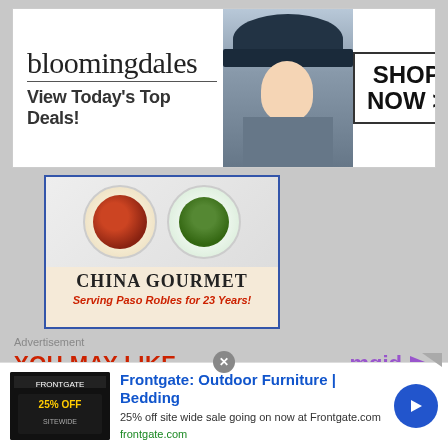[Figure (screenshot): Bloomingdales banner advertisement: logo on left, model with hat in center, SHOP NOW button on right. Text: View Today's Top Deals!]
[Figure (screenshot): China Gourmet restaurant advertisement showing two plates of food. Text: CHINA GOURMET, Serving Paso Robles for 23 Years!]
Advertisement
YOU MAY LIKE
[Figure (photo): Man with beard and glasses raising his fist/hand in air against dark background]
[Figure (screenshot): Frontgate: Outdoor Furniture | Bedding advertisement. 25% off site wide sale going on now at Frontgate.com. frontgate.com]